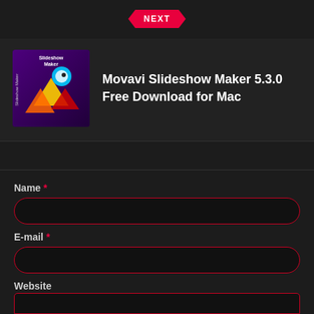NEXT
[Figure (screenshot): Movavi Slideshow Maker software box art thumbnail — purple background with colorful geometric shapes and a bird mascot]
Movavi Slideshow Maker 5.3.0 Free Download for Mac
Name *
E-mail *
Website